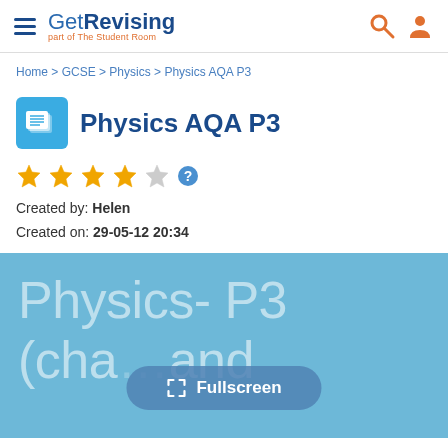GetRevising — part of The Student Room
Home > GCSE > Physics > Physics AQA P3
Physics AQA P3
[Figure (other): Four orange filled stars and one empty star rating, followed by a blue circle question mark icon]
Created by: Helen
Created on: 29-05-12 20:34
[Figure (screenshot): Blue preview panel showing large faded text 'Physics- P3 (cha... and ...' with a Fullscreen button overlay in the center]